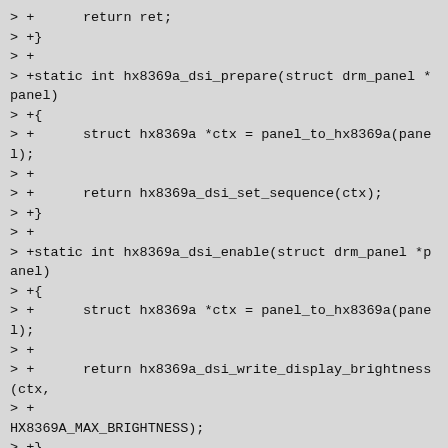> +      return ret;
> +}
> +
> +static int hx8369a_dsi_prepare(struct drm_panel *panel)
> +{
> +      struct hx8369a *ctx = panel_to_hx8369a(panel);
> +
> +      return hx8369a_dsi_set_sequence(ctx);
> +}
> +
> +static int hx8369a_dsi_enable(struct drm_panel *panel)
> +{
> +      struct hx8369a *ctx = panel_to_hx8369a(panel);
> +
> +      return hx8369a_dsi_write_display_brightness(ctx,
> +
HX8369A_MAX_BRIGHTNESS);
> +}
> +